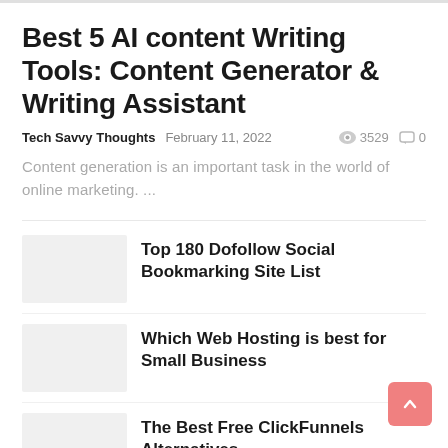Best 5 AI content Writing Tools: Content Generator & Writing Assistant
Tech Savvy Thoughts   February 11, 2022   👁 3529  💬 0
Content generation is an important task in the world of online marketing. ...
Top 180 Dofollow Social Bookmarking Site List
Which Web Hosting is best for Small Business
The Best Free ClickFunnels Alternatives